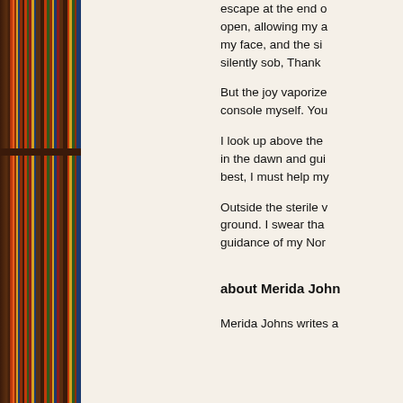[Figure (photo): Bookshelf with colorful books on wooden shelves, viewed from the side]
escape at the end of... open, allowing my a... my face, and the si... silently sob, Thank...
But the joy vaporize... console myself. You...
I look up above the... in the dawn and gui... best, I must help my...
Outside the sterile w... ground. I swear tha... guidance of my Nor...
about Merida John...
Merida Johns writes a...